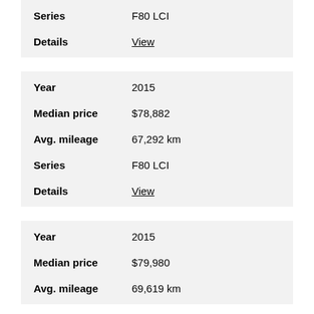| Field | Value |
| --- | --- |
| Series | F80 LCI |
| Details | View |
| Field | Value |
| --- | --- |
| Year | 2015 |
| Median price | $78,882 |
| Avg. mileage | 67,292 km |
| Series | F80 LCI |
| Details | View |
| Field | Value |
| --- | --- |
| Year | 2015 |
| Median price | $79,980 |
| Avg. mileage | 69,619 km |